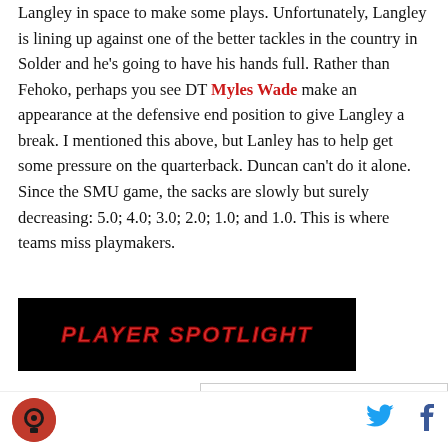Langley in space to make some plays. Unfortunately, Langley is lining up against one of the better tackles in the country in Solder and he's going to have his hands full. Rather than Fehoko, perhaps you see DT Myles Wade make an appearance at the defensive end position to give Langley a break. I mentioned this above, but Lanley has to help get some pressure on the quarterback. Duncan can't do it alone. Since the SMU game, the sacks are slowly but surely decreasing: 5.0; 4.0; 3.0; 2.0; 1.0; and 1.0. This is where teams miss playmakers.
[Figure (other): Black banner graphic with red bold italic text reading PLAYER SPOTLIGHT]
I never thought that
[site logo] [Twitter icon] [Facebook icon]